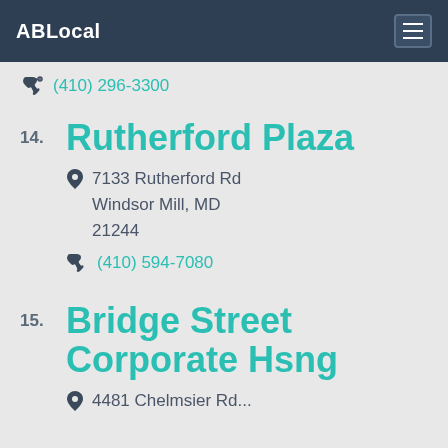ABLocal
(410) 296-3300
14. Rutherford Plaza
7133 Rutherford Rd
Windsor Mill, MD
21244
(410) 594-7080
15. Bridge Street Corporate Hsng
4481 Chelmsier Rd...